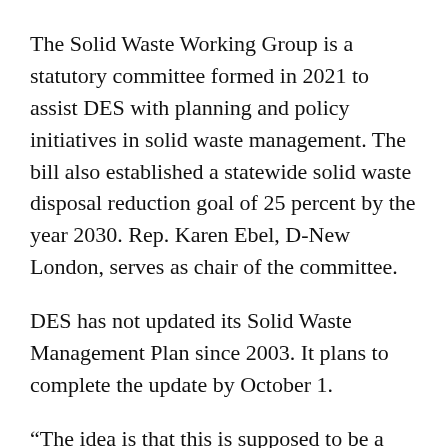The Solid Waste Working Group is a statutory committee formed in 2021 to assist DES with planning and policy initiatives in solid waste management. The bill also established a statewide solid waste disposal reduction goal of 25 percent by the year 2030. Rep. Karen Ebel, D-New London, serves as chair of the committee.
DES has not updated its Solid Waste Management Plan since 2003. It plans to complete the update by October 1.
“The idea is that this is supposed to be a document that helps the Solid Waste Working Group to focus conversations,” said Michael Wimsatt, the director of the DES’ Waste Management Division. “The subcommittees have been meeting and talking about potential recommendations … so what we’ve done is we’ve tried to outline the kinds of things that came to mind for us for goals and actions that fall under